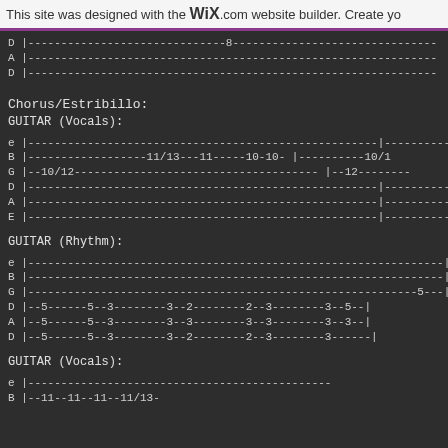This site was designed with the WiX.com website builder. Create yo
D |------------------------------8-----------------------------
A |-------------------------------------------------------------
D |-------------------------------------------------------------
Chorus/Estribillo:
GUITAR (Vocals):
e |-------------------------------------------------------------|
 B |------------------11/13---11-----10-10- |----------10/1
G |--10/12---------------------------------------------- |--12---------
D |-------------------------------------------------------------|----------
A |-------------------------------------------------------------|----------
E |-------------------------------------------------------------|----------
GUITAR (Rhythm):
e |-------------------------------------------------------------------|
B |-------------------------------------------------------------------|
G |-----------------------------------------------------------5---|
D |--5------5--3--------3--2--------2--3--------3--5---|
A |--5------5--3--------3--3--------3--3--------3--3---|
D |--5------5--3--------3--2--------2--3--------3---------|
GUITAR (Vocals):
e |----------------------------------------------
B |--11--11--11--11/13-